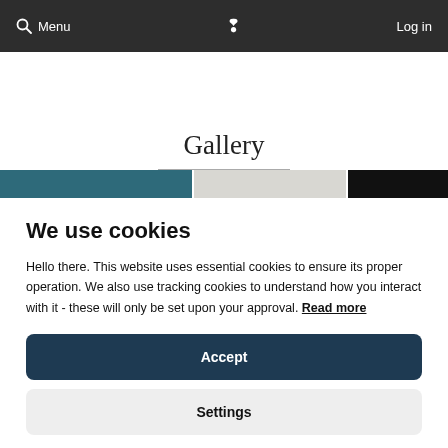Menu  [logo]  Log in
Gallery
[Figure (photo): Partial gallery image strip: teal/blue panel, light gray panel, dark/black panel]
We use cookies
Hello there. This website uses essential cookies to ensure its proper operation. We also use tracking cookies to understand how you interact with it - these will only be set upon your approval. Read more
Accept
Settings